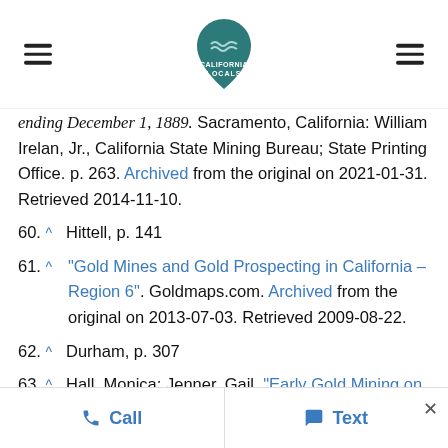California Locals (logo with hamburger menus)
ending December 1, 1889. Sacramento, California: William Irelan, Jr., California State Mining Bureau; State Printing Office. p. 263. Archived from the original on 2021-01-31. Retrieved 2014-11-10.
60. ^ Hittell, p. 141
61. ^ "Gold Mines and Gold Prospecting in California – Region 6". Goldmaps.com. Archived from the original on 2013-07-03. Retrieved 2009-08-22.
62. ^ Durham, p. 307
63. ^ Hall, Monica; Jenner, Gail. "Early Gold Mining on the Trinity and Klamath Rivers". Klamath Bucket
Call   Text